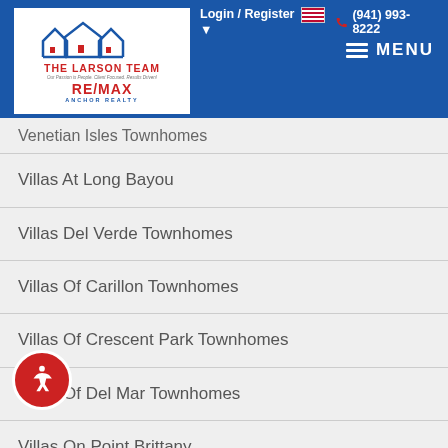Login / Register | (941) 993-8222 | The Larson Team RE/MAX Anchor Realty | MENU
Venetian Isles Townhomes
Villas At Long Bayou
Villas Del Verde Townhomes
Villas Of Carillon Townhomes
Villas Of Crescent Park Townhomes
Villas Of Del Mar Townhomes
Villas On Point Brittany
Whitby Place
Vista Verde